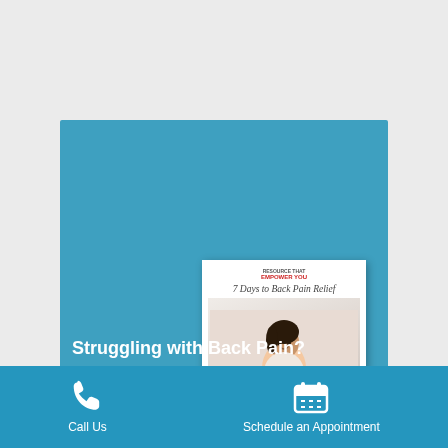[Figure (illustration): Book cover for '7 Days to Back Pain Relief' showing a woman sitting cross-legged and stretching, with a logo at top and clinic branding at bottom]
Struggling with Back Pain?
Submit your details below if you are tired of struggling with back pain, find relief
[Figure (infographic): Bottom navigation bar with phone icon and 'Call Us' label on the left, and calendar icon with 'Schedule an Appointment' label on the right, on a blue background]